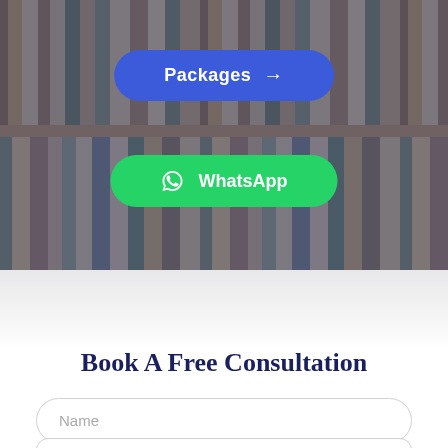[Figure (photo): Hero section showing a bookshelf with books, overlaid with dark blue tint. Two buttons are visible: a blue 'Packages →' button and a green 'WhatsApp' button with WhatsApp icon.]
Book A Free Consultation
Name